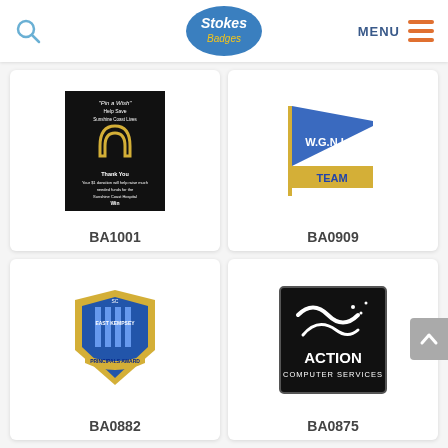[Figure (logo): Stokes Badges logo — blue oval with white italic 'Stokes' and yellow italic 'Badges' text]
[Figure (logo): Search icon (magnifier) in blue]
MENU
[Figure (photo): Badge BA1001 — black rectangular badge with horseshoe and 'Pin a Wish Help Save Sunshine Coast Lives' text, lottery-style design]
BA1001
[Figure (photo): Badge BA0909 — blue and gold flag-shaped pin badge with 'W.G.N.I. TEAM' text]
BA0909
[Figure (photo): Badge BA0882 — blue and gold shield-shaped pin badge with 'East Kempsey Principals Award' text]
BA0882
[Figure (photo): Badge BA0875 — black square badge with wave/dolphin logo and 'ACTION COMPUTER SERVICES' text]
BA0875